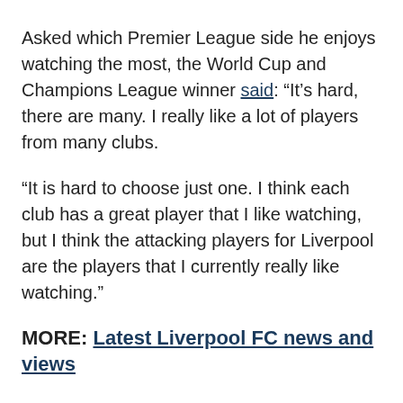Asked which Premier League side he enjoys watching the most, the World Cup and Champions League winner said: “It’s hard, there are many. I really like a lot of players from many clubs.
“It is hard to choose just one. I think each club has a great player that I like watching, but I think the attacking players for Liverpool are the players that I currently really like watching.”
MORE: Latest Liverpool FC news and views
MORE: Football transfer rumours and gossip